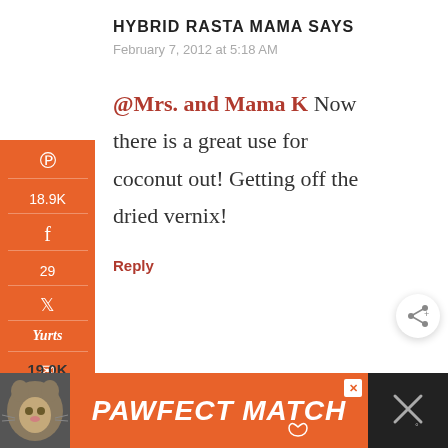HYBRID RASTA MAMA SAYS
February 7, 2012 at 5:18 AM
@Mrs. and Mama K Now there is a great use for coconut out! Getting off the dried vernix!
Reply
19.0K SHARES
[Figure (screenshot): PAWFECT MATCH advertisement banner with cat photo]